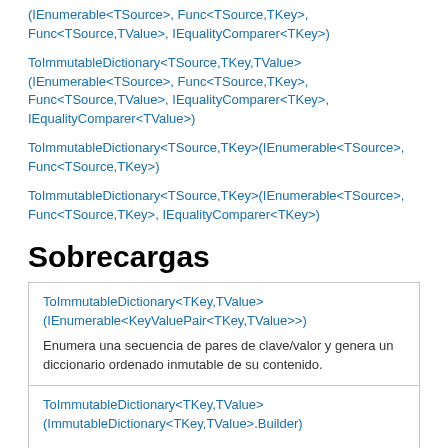(IEnumerable<TSource>, Func<TSource,TKey>, Func<TSource,TValue>, IEqualityComparer<TKey>)
ToImmutableDictionary<TSource,TKey,TValue>(IEnumerable<TSource>, Func<TSource,TKey>, Func<TSource,TValue>, IEqualityComparer<TKey>, IEqualityComparer<TValue>)
ToImmutableDictionary<TSource,TKey>(IEnumerable<TSource>, Func<TSource,TKey>)
ToImmutableDictionary<TSource,TKey>(IEnumerable<TSource>, Func<TSource,TKey>, IEqualityComparer<TKey>)
Sobrecargas
| Method | Description |
| --- | --- |
| ToImmutableDictionary<TKey,TValue>(IEnumerable<KeyValuePair<TKey,TValue>>) | Enumera una secuencia de pares de clave/valor y genera un diccionario ordenado inmutable de su contenido. |
| ToImmutableDictionary<TKey,TValue>(ImmutableDictionary<TKey,TValue>.Builder) |  |